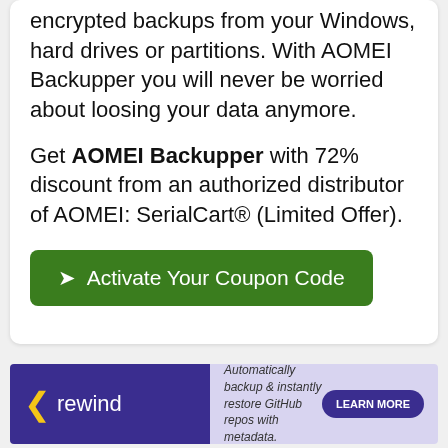encrypted backups from your Windows, hard drives or partitions. With AOMEI Backupper you will never be worried about loosing your data anymore.
Get AOMEI Backupper with 72% discount from an authorized distributor of AOMEI: SerialCart® (Limited Offer).
➤ Activate Your Coupon Code
[Figure (infographic): Rewind advertisement banner: purple left section with rewind logo (yellow chevron + 'rewind' text), light purple right section with tagline 'Automatically backup & instantly restore GitHub repos with metadata.' and a 'LEARN MORE' button.]